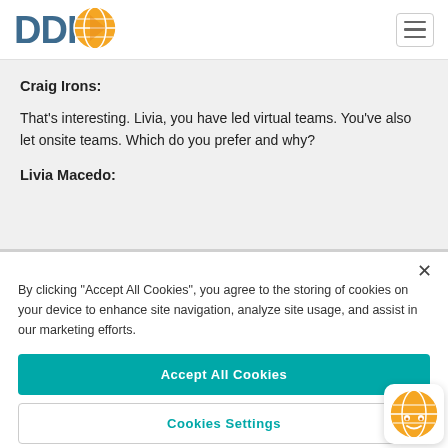[Figure (logo): DDI logo with orange globe icon and dark blue text]
Craig Irons:
That's interesting. Livia, you have led virtual teams. You've also let onsite teams. Which do you prefer and why?
Livia Macedo:
By clicking "Accept All Cookies", you agree to the storing of cookies on your device to enhance site navigation, analyze site usage, and assist in our marketing efforts.
Accept All Cookies
Cookies Settings